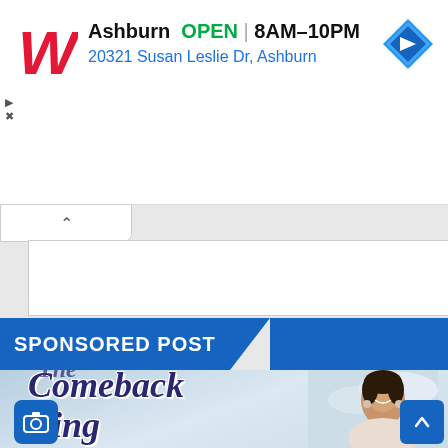[Figure (screenshot): Walgreens ad banner showing store location in Ashburn with OPEN status, hours 8AM-10PM, address 20321 Susan Leslie Dr Ashburn, navigation icon top right, ad controls on left]
Ashburn  OPEN | 8AM–10PM
20321 Susan Leslie Dr, Ashburn
[Figure (screenshot): Collapsed/minimized content area showing collapse chevron button, large white blank content box]
SPONSORED POST
[Figure (screenshot): Sponsored post image showing 'The Comeback King' text in purple italic font over a light blue sky background with a smiling woman on the right side, camera icon button bottom left, scroll-to-top button bottom right]